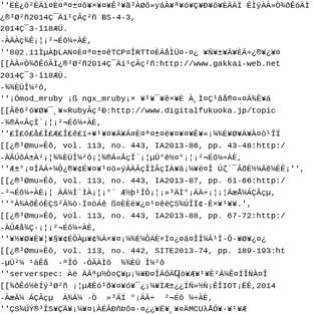''ËÈ¿ô²ÈÄì¤È¤ª¤±¤ô¥×¥¤¥Ê³¥ã³ÀØô»yáÀ¥ª¥ó¥Ç¥Ð¥ó¥ÈÄÄÏ ÊÌÿÀÀ»Ò¾ðÊóÄÌ¿®³Ø²ñ2014Ç¯Äí¹çÂç²ñ BS-4-3, 2014Ç¯3·î18ÆÜ.
-ÀÃÀç¾Ê¡¦¡²¬Éô¼÷ÀÈ,
''802.11ÌµÀþLAN¤È¤ª¤±¤êTCP¤ÎRTT¤ÈÃåÌÜ¤·¤¿ ¥Ñ¥±¥Ã¥ÈÄ÷¿®¥¿¥¤
[[ÀÀ»Ò¾ðÊóÄÌ¿®³Ø²ñ2014Ç¯Äí¹çÂç²ñ:http://www.gakkai-web.net 2014Ç¯3·î18ÆÜ.
-¾¾ÈÜÎ¼²ô,
''¡Ōmod_mruby ¡ß ngx_mruby¡× ¥¹¥¯¥ê×¥È À¸Ì¤Ç¹âå®¤«¤Ä¾Ê¥á
[[Âê6²ó¥Ø¥¯¸¥«RubyÂç³Ð:http://www.digitalfukuoka.jp/topic
-¾®Ã«ÂçÎ´¡¦¡²¬Éô¼÷ÀÈ,
''£Î£ô£å£Î£Æ£Î£ê£ï÷¥¹¥¤¥Ã¥Á¤È¤ª¤±¤ë¥¤¥¤¥Ê¥«¡¼¾É¥Ø¥Ã¥À¤ò¹ÎÍ
[[¿®³Ømu»Êô, vol. 113, no. 443, IA2013-86, pp. 43-48:http:/
-ÀÂÚôÁ±À²¡¦¾¾ÈÜÎ¼²ô¡¦¾®Ã«ÂçÎ´¡¦µÜ°ê½¤°¡¦¡²¬Éô¼÷ÀÈ,
''Æ±°¡¤ÎÄÁ÷¼Ô¿®¥¢É¥¤¥¹¤ò»ýÄÀÂçÎÌÂçÏÀ¥á¡¼¥ë¤Î Úζ¨¯ÂðÈ½¼Ãê¼ÈÊ¡'',
[[¿®³Ømu»Êô, vol. 113, no. 443, IA2013-87, pp. 61-66:http:/
-²¬Éô¼÷ÀÈ¡¦ ÀÃ¼Î´ÌÀ¡¦¡°´ Æ½þ¹ÎÔ¡¦¡»³ÄÏ°¡ÄÄ÷¡¦¡¦ÃæÅ¼ÁÇÂçµ,
''°À¾ÀðÊóÈÇS²Ã¾ò·Ï¤òÁê ß¤ÈÈë¥¿¤¹¤êëÇS¾ÚÎÏ¢·Ê×¥¹¥¥.',
[[¿®³Ømu»Êô, vol. 113, no. 443, IA2013-88, pp. 67-72:http:/
-ÀÛÆå¾Ç·¡¦¡²¬Éô¼÷ÀÈ,
''¥½¥Ø¥È¥¦¥§¥¢ÉÔÀµ¥¢¾Ã×¥¤¡¼¾É¼ÔÁÈ×Ï¤¿¤á¤ÎÎ¼Â¹Î·Ô·¥Ø¥¿¤¿
[[¿®³Ømu»Êô, vol. 113, no. 442, SITE2013-74, pp. 189-193:ht
-µÜ²¼ ¹äÊå  ·ªÎÓ ·ÒÂÀÌô  ¾¾ÈÜ Î¼²ô
''serverspec: Àë ÀÃªµ½Ò¤Ç¥µ¡¼¥Ð¤ÎÃÖÃϤò¥Æ¥¹¥È²Ã¼Ê¤ÍÎÑÀ¤Î
[[¾ðÊó½èÍý³Ø²ñ ¡¦µÆÊó¹ð¥¤¥ó¥¯¿¡¼¥ÌÆ±¿¿ÍÑ»½Ñ¡ÊÎIOT¡ËÊ,2014
-ÀæÃ¼ ÁÇÂçµ  À¾Ã¼ ·Ò  »³ÄÏ °¡ÄÄ÷  ²¬Éô ¼÷ÀÈ,
''ÇS¾ÚÝ®³ÎS¥ÇÃ¥¡¼¥¤¡ÀÉÂÐñÞô¤·¤¿¿¥Ë¥¸¥¤ÄMCUλÅÓ¥·¥¹¥Æ
[[¾ðÊó½èÍý³Ø²ñ ¡¦µÆÊó¹ð¥¤¥ó¥¯¿¡¼¥ÌÆ±¿¿ÍÑ»½Ñ¡ÊÎIOT¡ËÊ,2014
-¿¹ÈÜ¾°Ç·¡¦¤µÚÜ°ê½¤°¡¦¤²¬Éô¼÷ÀÈ¡¦¤
''ÁÆÏÌÀÔÌô»ýÄÀÂç³äÂÄÀÔ© ÂÈÕ¤ÈÊ£¿¯ô¥È¥Æ¥ê×¥Ã¶Â¥Æ¥¯ÎÎä¿Æ± [[2013